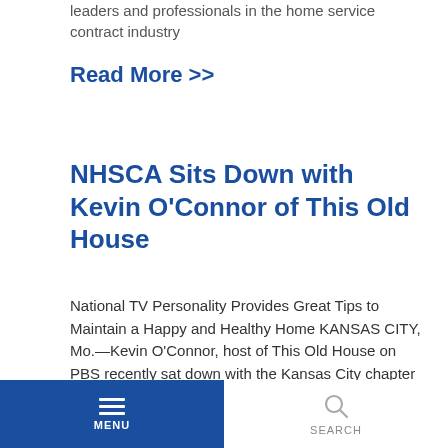leaders and professionals in the home service contract industry
Read More >>
NHSCA Sits Down with Kevin O'Connor of This Old House
National TV Personality Provides Great Tips to Maintain a Happy and Healthy Home KANSAS CITY, Mo.—Kevin O'Connor, host of This Old House on PBS recently sat down with the Kansas City chapter of the National Home Service Contract Association to discuss tips for homeowners. Nominated for an
MENU  SEARCH